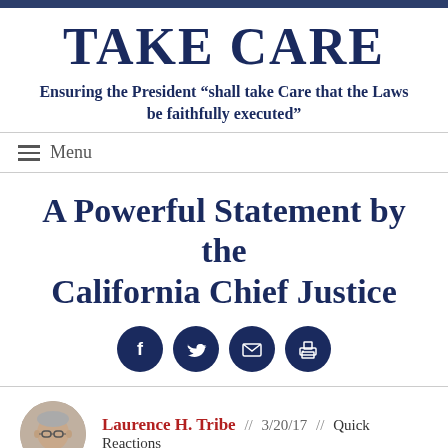TAKE CARE
Ensuring the President “shall take Care that the Laws be faithfully executed”
Menu
A Powerful Statement by the California Chief Justice
[Figure (other): Social sharing icons: Facebook, Twitter, Email, Print]
Laurence H. Tribe // 3/20/17 // Quick Reactions